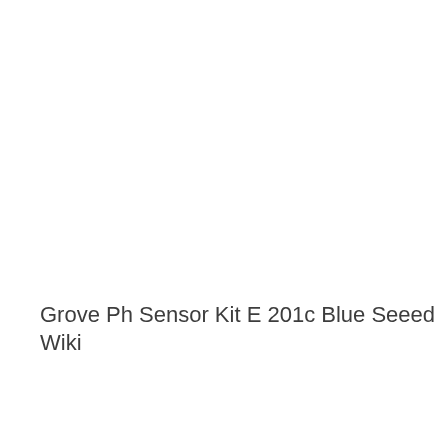Grove Ph Sensor Kit E 201c Blue Seeed Wiki